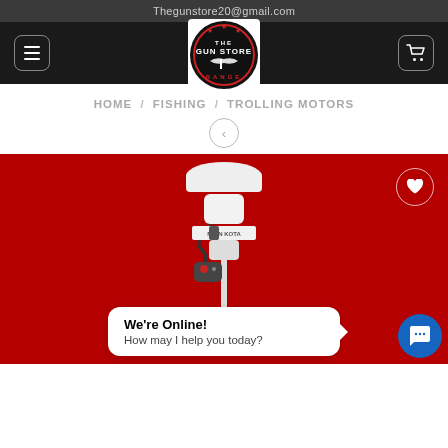Thegunstore20@gmail.com
[Figure (logo): The Gun Store Range logo - circular dark logo with gun silhouette and stars]
HOME / FISHING / TROLLING MOTORS
[Figure (photo): Minn Kota trolling motor product photo on red background with wishlist heart button and chat widget showing 'We're Online! How may I help you today?']